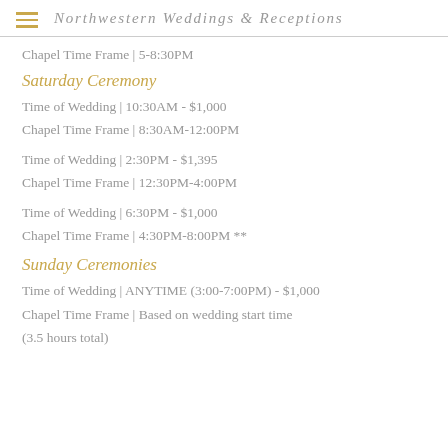Northwestern Weddings & Receptions
Chapel Time Frame | 5-8:30PM
Saturday Ceremony
Time of Wedding | 10:30AM - $1,000
Chapel Time Frame | 8:30AM-12:00PM
Time of Wedding | 2:30PM - $1,395
Chapel Time Frame | 12:30PM-4:00PM
Time of Wedding | 6:30PM - $1,000
Chapel Time Frame | 4:30PM-8:00PM **
Sunday Ceremonies
Time of Wedding | ANYTIME (3:00-7:00PM) - $1,000
Chapel Time Frame | Based on wedding start time (3.5 hours total)